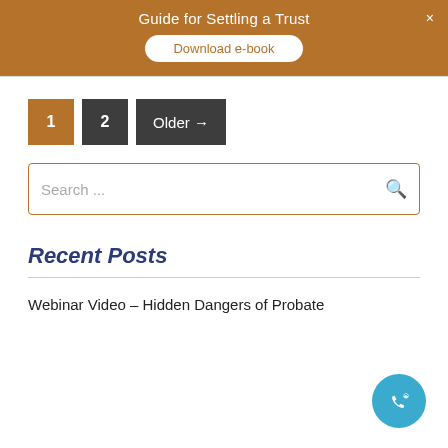Guide for Settling a Trust
Download e-book
1  2  Older →
Search ...
Recent Posts
Webinar Video – Hidden Dangers of Probate